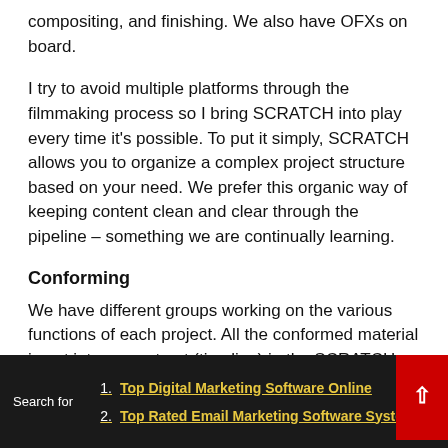compositing, and finishing. We also have OFXs on board.
I try to avoid multiple platforms through the filmmaking process so I bring SCRATCH into play every time it's possible. To put it simply, SCRATCH allows you to organize a complex project structure based on your need. We prefer this organic way of keeping content clean and clear through the pipeline – something we are continually learning.
Conforming
We have different groups working on the various functions of each project. All the conformed material is put into a construct (timeline) in the SCRATCH
1. Top Digital Marketing Software Online
2. Top Rated Email Marketing Software System